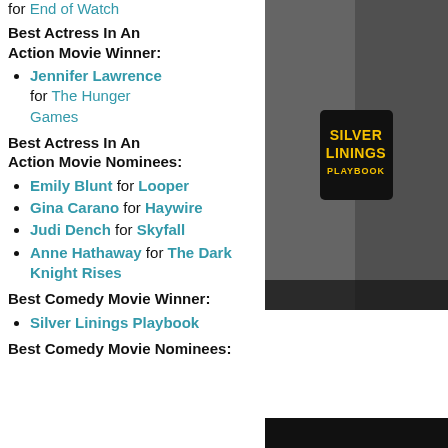for End of Watch
Best Actress In An Action Movie Winner:
Jennifer Lawrence for The Hunger Games
Best Actress In An Action Movie Nominees:
Emily Blunt for Looper
Gina Carano for Haywire
Judi Dench for Skyfall
Anne Hathaway for The Dark Knight Rises
Best Comedy Movie Winner:
Silver Linings Playbook
Best Comedy Movie Nominees:
[Figure (photo): Movie poster for Silver Linings Playbook showing two actors in black and white with the title in yellow text]